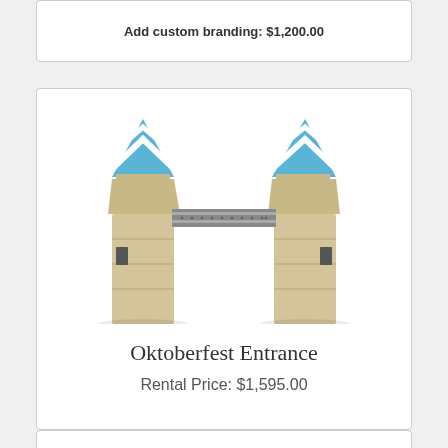Add custom branding: $1,200.00
[Figure (illustration): 3D rendered illustration of an Oktoberfest entrance gate with two stone pillars topped with blue and white chevron-patterned spires connected by a horizontal sign beam]
Oktoberfest Entrance
Rental Price: $1,595.00